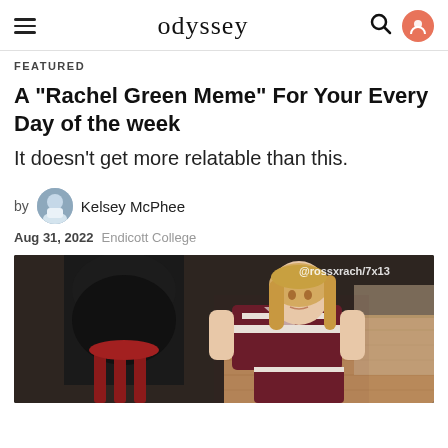odyssey
FEATURED
A "Rachel Green Meme" For Your Every Day of the week
It doesn't get more relatable than this.
by Kelsey McPhee
Aug 31, 2022  Endicott College
[Figure (photo): A woman dressed in a maroon and white cheerleader uniform leaning forward, with a black punching bag on a stand visible on the left. Watermark reads @rossxrach/7x13 in upper right corner.]